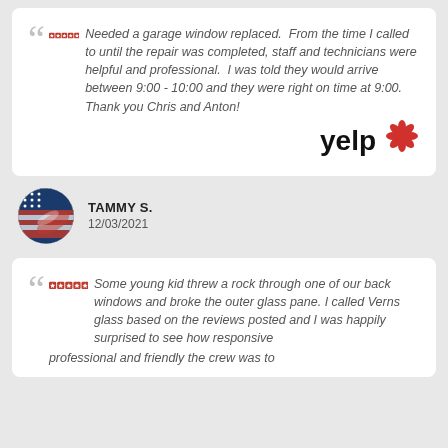Needed a garage window replaced. From the time I called to until the repair was completed, staff and technicians were helpful and professional. I was told they would arrive between 9:00 - 10:00 and they were right on time at 9:00. Thank you Chris and Anton!
[Figure (logo): Yelp logo with red burst]
[Figure (photo): Circular avatar showing American flag motif]
TAMMY S.
12/03/2021
Some young kid threw a rock through one of our back windows and broke the outer glass pane. I called Verns glass based on the reviews posted and I was happily surprised to see how responsive